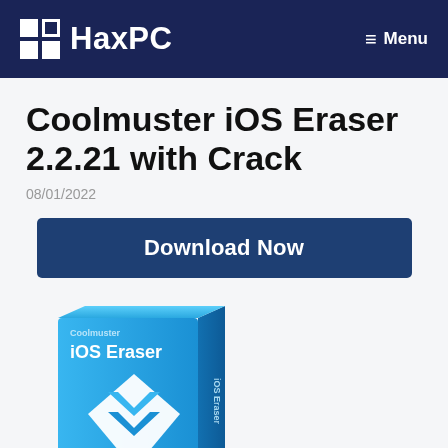HaxPC  Menu
Coolmuster iOS Eraser 2.2.21 with Crack
08/01/2022
[Figure (screenshot): Blue 'Download Now' button]
[Figure (illustration): Coolmuster iOS Eraser software box art — a blue and orange box with the iOS Eraser logo and a diamond/shield icon]